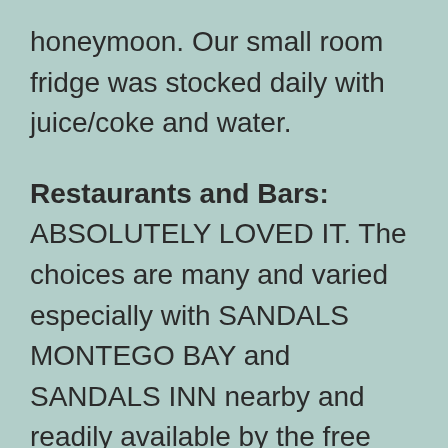honeymoon. Our small room fridge was stocked daily with juice/coke and water.
Restaurants and Bars: ABSOLUTELY LOVED IT. The choices are many and varied especially with SANDALS MONTEGO BAY and SANDALS INN nearby and readily available by the free SANDALS shuttle. We love dining and our favourites at the RC were the Royal Thai on the island(the ambiance is great, soup is very spicy)and Le Jardiniere French).Oleanders and Tokyo Joes at SANDALS MONTEGO BAY were also wonderful. We were not as fond of the Italian at